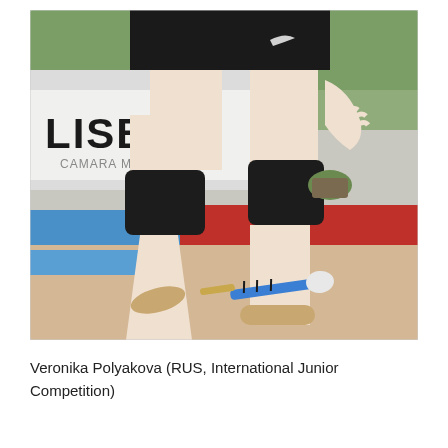[Figure (photo): A rhythmic gymnast (Veronika Polyakova) bending forward on a competition floor, wearing black shorts and black knee pads, with a club apparatus lying on the floor. A Lisboa competition banner is visible in the background.]
Veronika Polyakova (RUS, International Junior Competition)